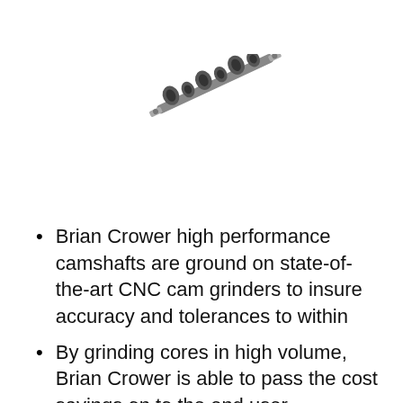[Figure (photo): A small camshaft shown at a diagonal angle, metallic with lobes visible, rotated roughly 30 degrees clockwise.]
Brian Crower high performance camshafts are ground on state-of-the-art CNC cam grinders to insure accuracy and tolerances to within
By grinding cores in high volume, Brian Crower is able to pass the cost savings on to the end user